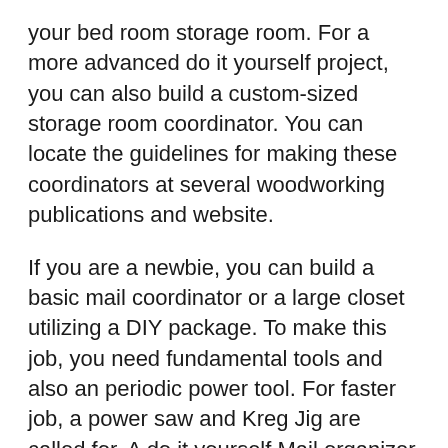your bed room storage room. For a more advanced do it yourself project, you can also build a custom-sized storage room coordinator. You can locate the guidelines for making these coordinators at several woodworking publications and website.
If you are a newbie, you can build a basic mail coordinator or a large closet utilizing a DIY package. To make this job, you need fundamental tools and also an periodic power tool. For faster job, a power saw and Kreg Jig are called for. A do it yourself Mail organizer is a fantastic task for the beginning woodworker. You can additionally build other layouts by utilizing various other timbers and also making use of the same tools.